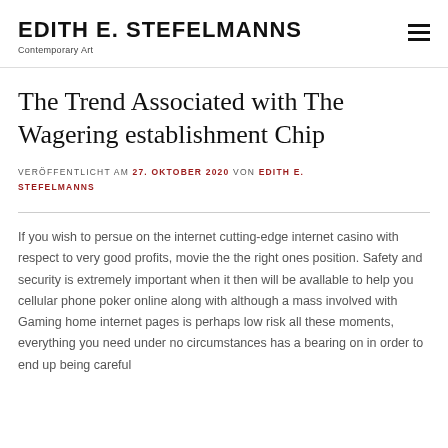EDITH E. STEFELMANNS
Contemporary Art
The Trend Associated with The Wagering establishment Chip
VERÖFFENTLICHT AM 27. OKTOBER 2020 VON EDITH E. STEFELMANNS
If you wish to persue on the internet cutting-edge internet casino with respect to very good profits, movie the the right ones position. Safety and security is extremely important when it then will be avallable to help you cellular phone poker online along with although a mass involved with Gaming home internet pages is perhaps low risk all these moments, everything you need under no circumstances has a bearing on in order to end up being careful